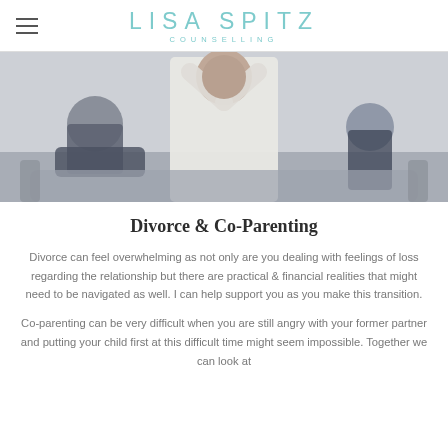LISA SPITZ COUNSELLING
[Figure (photo): Photo of two people seated, one in the foreground with arms raised behind head wearing a white shirt, the other in the background in dark jeans on a couch, suggesting distress or conflict.]
Divorce & Co-Parenting
Divorce can feel overwhelming as not only are you dealing with feelings of loss regarding the relationship but there are practical & financial realities that might need to be navigated as well.  I can help support you as you make this transition.
Co-parenting can be very difficult when you are still angry with your former partner and putting your child first at this difficult time might seem impossible.  Together we can look at